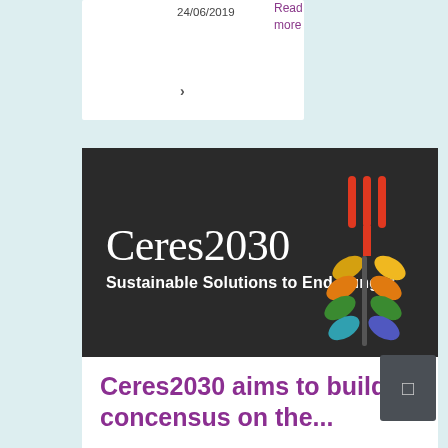24/06/2019
Read more
›
[Figure (logo): Ceres2030 logo on dark background: large white serif text 'Ceres2030', bold white subtitle 'Sustainable Solutions to End Hunger', with a colorful fork-and-wheat stalk icon on the right featuring red, yellow, orange, green, and blue/teal leaf shapes.]
Ceres2030 aims to build concensus on the...
What is the most effective way to end hunger sustainably? And what would it